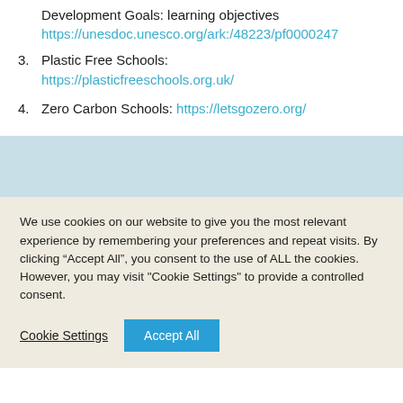Development Goals: learning objectives https://unesdoc.unesco.org/ark:/48223/pf0000247
3. Plastic Free Schools:
https://plasticfreeschools.org.uk/
4. Zero Carbon Schools: https://letsgozero.org/
We use cookies on our website to give you the most relevant experience by remembering your preferences and repeat visits. By clicking “Accept All”, you consent to the use of ALL the cookies. However, you may visit "Cookie Settings" to provide a controlled consent.
Cookie Settings  Accept All